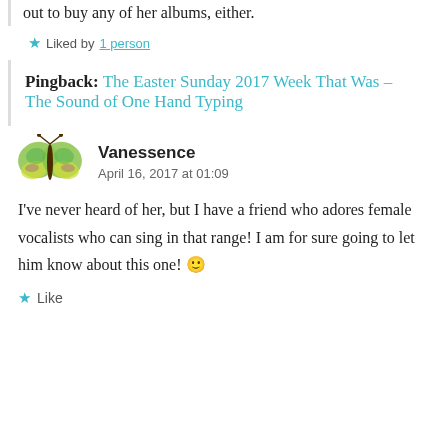out to buy any of her albums, either.
Liked by 1 person
Pingback: The Easter Sunday 2017 Week That Was – The Sound of One Hand Typing
Vanessence
April 16, 2017 at 01:09
I've never heard of her, but I have a friend who adores female vocalists who can sing in that range! I am for sure going to let him know about this one! 🙂
Like